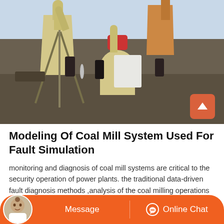[Figure (photo): Industrial coal mill facility with large yellow hoppers/silos, conveyor equipment, and workers on site. Heavy industrial machinery including a grinding mill and dust collectors visible outdoors.]
Modeling Of Coal Mill System Used For Fault Simulation
monitoring and diagnosis of coal mill systems are critical to the security operation of power plants. the traditional data-driven fault diagnosis methods ,analysis of the coal milling operations to the boiler parameters,milling system in coal power plant purposely to process the